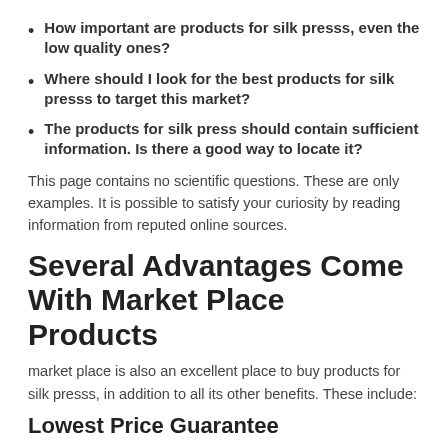How important are products for silk presss, even the low quality ones?
Where should I look for the best products for silk presss to target this market?
The products for silk press should contain sufficient information. Is there a good way to locate it?
This page contains no scientific questions. These are only examples. It is possible to satisfy your curiosity by reading information from reputed online sources.
Several Advantages Come With Market Place Products
market place is also an excellent place to buy products for silk presss, in addition to all its other benefits. These include:
Lowest Price Guarantee